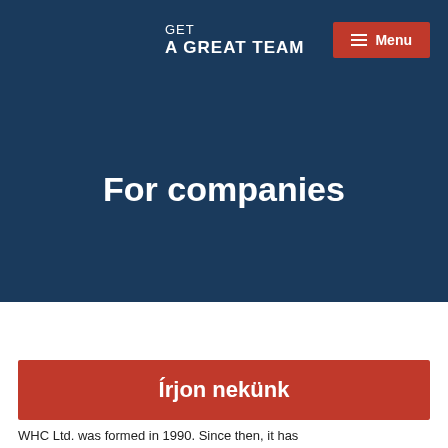GET A GREAT TEAM
For companies
Írjon nekünk
WHC Ltd. was formed in 1990. Since then, it has